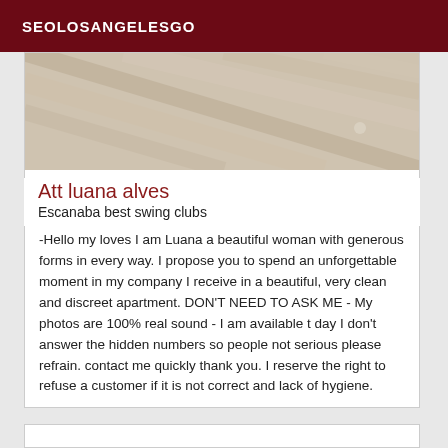SEOLOSANGELESGO
[Figure (photo): Close-up photo of beige/cream colored diamond pattern surface or fabric]
Att luana alves
Escanaba best swing clubs
-Hello my loves I am Luana a beautiful woman with generous forms in every way. I propose you to spend an unforgettable moment in my company I receive in a beautiful, very clean and discreet apartment. DON'T NEED TO ASK ME - My photos are 100% real sound - I am available t day I don't answer the hidden numbers so people not serious please refrain. contact me quickly thank you. I reserve the right to refuse a customer if it is not correct and lack of hygiene.